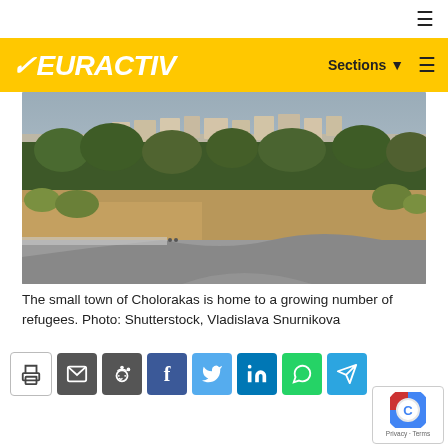EURACTIV
[Figure (photo): A winding road through a dry landscape with vegetation and buildings on a hill in the background, in the small town of Cholorakas, Cyprus.]
The small town of Cholorakas is home to a growing number of refugees. Photo: Shutterstock, Vladislava Snurnikova